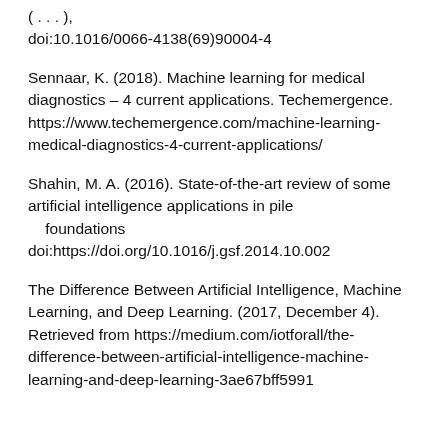( . . . ), doi:10.1016/0066-4138(69)90004-4
Sennaar, K. (2018). Machine learning for medical diagnostics – 4 current applications. Techemergence. https://www.techemergence.com/machine-learning-medical-diagnostics-4-current-applications/
Shahin, M. A. (2016). State-of-the-art review of some artificial intelligence applications in pile foundations doi:https://doi.org/10.1016/j.gsf.2014.10.002
The Difference Between Artificial Intelligence, Machine Learning, and Deep Learning. (2017, December 4). Retrieved from https://medium.com/iotforall/the-difference-between-artificial-intelligence-machine-learning-and-deep-learning-3ae67bff5991